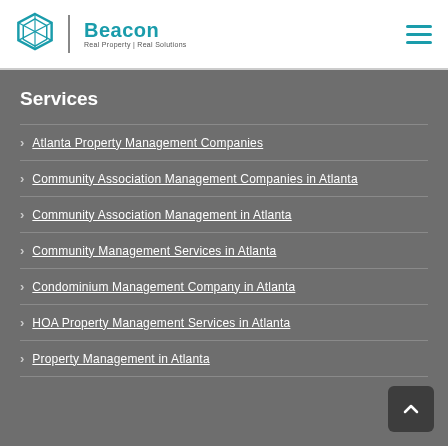Beacon Real Property | Real Solutions
Services
Atlanta Property Management Companies
Community Association Management Companies in Atlanta
Community Association Management in Atlanta
Community Management Services in Atlanta
Condominium Management Company in Atlanta
HOA Property Management Services in Atlanta
Property Management in Atlanta